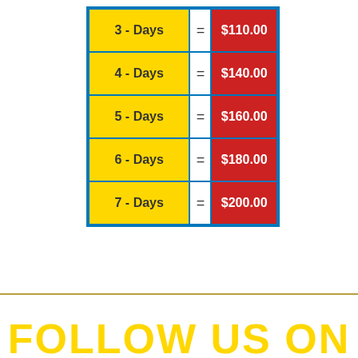| Days | = | Price |
| --- | --- | --- |
| 3 - Days | = | $110.00 |
| 4 - Days | = | $140.00 |
| 5 - Days | = | $160.00 |
| 6 - Days | = | $180.00 |
| 7 - Days | = | $200.00 |
FOLLOW US ON